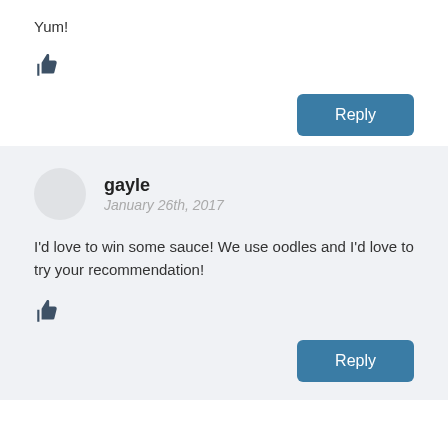Yum!
[Figure (illustration): Thumbs up like icon]
Reply
gayle
January 26th, 2017
I'd love to win some sauce! We use oodles and I'd love to try your recommendation!
[Figure (illustration): Thumbs up like icon]
Reply